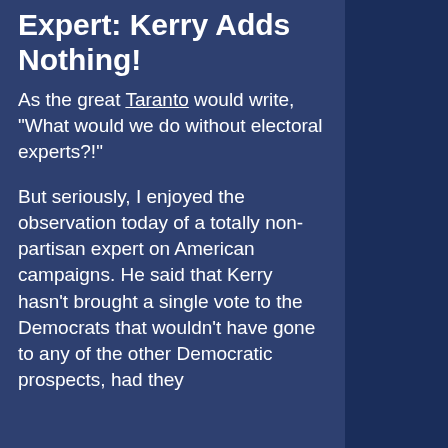Expert: Kerry Adds Nothing!
As the great Taranto would write, "What would we do without electoral experts?!"
But seriously, I enjoyed the observation today of a totally non-partisan expert on American campaigns. He said that Kerry hasn't brought a single vote to the Democrats that wouldn't have gone to any of the other Democratic prospects, had they